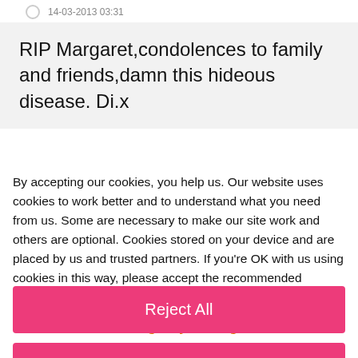14-03-2013 03:31
RIP Margaret,condolences to family and friends,damn this hideous disease. Di.x
By accepting our cookies, you help us. Our website uses cookies to work better and to understand what you need from us. Some are necessary to make our site work and others are optional. Cookies stored on your device and are placed by us and trusted partners. If you're OK with us using cookies in this way, please accept the recommended settings. View our Cookie Policy
Manage My Settings
Reject All
Accept All Cookies